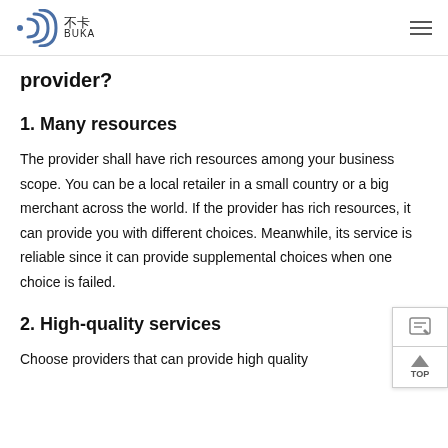不卡 BUKA
provider?
1. Many resources
The provider shall have rich resources among your business scope. You can be a local retailer in a small country or a big merchant across the world. If the provider has rich resources, it can provide you with different choices. Meanwhile, its service is reliable since it can provide supplemental choices when one choice is failed.
2. High-quality services
Choose providers that can provide high quality